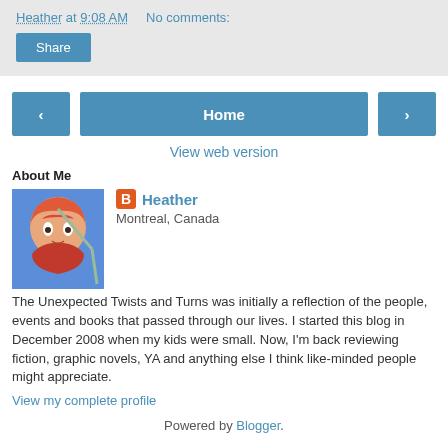Heather at 9:08 AM    No comments:
Share
‹
Home
›
View web version
About Me
[Figure (photo): Profile photo of a manga/anime style character with orange hair holding a weapon]
Heather
Montreal, Canada
The Unexpected Twists and Turns was initially a reflection of the people, events and books that passed through our lives. I started this blog in December 2008 when my kids were small. Now, I'm back reviewing fiction, graphic novels, YA and anything else I think like-minded people might appreciate.
View my complete profile
Powered by Blogger.